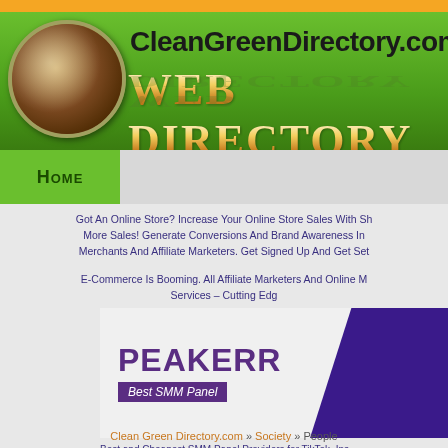[Figure (logo): CleanGreenDirectory.com website header banner with globe logo, site name and Web Directory title text on green background with orange top bar]
HOME
Got An Online Store? Increase Your Online Store Sales With Sh... More Sales! Generate Conversions And Brand Awareness In... Merchants And Affiliate Marketers. Get Signed Up And Get Set...
E-Commerce Is Booming. All Affiliate Marketers And Online M... Services – Cutting Edg...
[Figure (screenshot): Peakerr Best SMM Panel advertisement banner with purple logo text and dark purple diagonal graphic]
Best and Cheapest SMM Panel Providers for TikTok, Ins...
The SOLUTION to your social media problem...
Clean Green Directory.com » Society » People